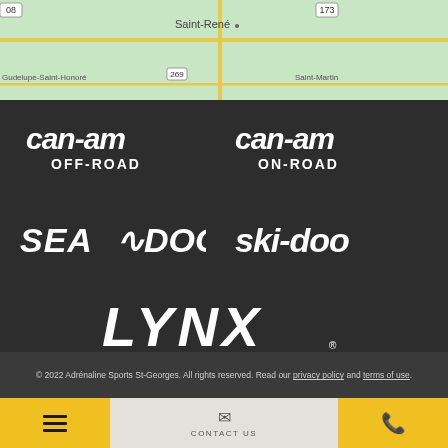[Figure (map): Top portion of a Google Maps view showing roads near Saint-René, Quebec, Canada with route markers 173 and 269.]
[Figure (logo): Can-Am OFF-ROAD logo in white on dark background]
[Figure (logo): Can-Am ON-ROAD logo in white on dark background]
[Figure (logo): Sea-Doo logo in white on dark background]
[Figure (logo): Ski-Doo logo in white on dark background]
[Figure (logo): LYNX logo in white on dark background]
© 2022 Adrénaline Sports St-Georges. All rights reserved. Read our privacy policy and terms of use.
Website creation by POWERGO
[Figure (infographic): Bottom navigation bar with hamburger menu on left (yellow), contact us envelope icon in center (gray), and phone icon on right (yellow)]